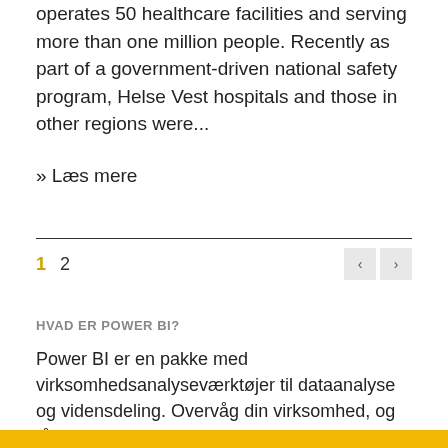operates 50 healthcare facilities and serving more than one million people. Recently as part of a government-driven national safety program, Helse Vest hospitals and those in other regions were...
» Læs mere
1  2
HVAD ER POWER BI?
Power BI er en pakke med virksomhedsanalyseværktøjer til dataanalyse og vidensdeling. Overvåg din virksomhed, og få hurtigt svar med omfattende dashboards, der er tilgængelige på alle enheder.
[Figure (other): Yellow horizontal bar at the bottom of the page]